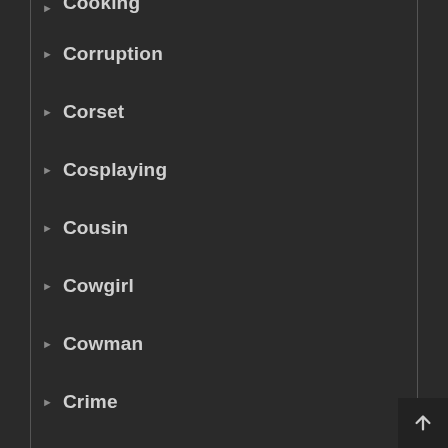Cooking
Corruption
Corset
Cosplaying
Cousin
Cowgirl
Cowman
Crime
Crossdressing
Crotch Tattoo
Crown
Cum Swap
Cunnilingus